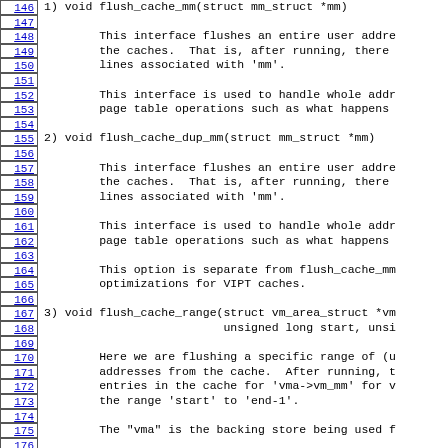Lines 146-175 of kernel cache documentation showing flush_cache_mm, flush_cache_dup_mm, and flush_cache_range function descriptions
1) void flush_cache_mm(struct mm_struct *mm)
This interface flushes an entire user address space from the caches. That is, after running, there will be no cache lines associated with 'mm'.
This interface is used to handle whole address space page table operations such as what happens...
2) void flush_cache_dup_mm(struct mm_struct *mm)
This interface flushes an entire user address space from the caches. That is, after running, there will be no cache lines associated with 'mm'.
This interface is used to handle whole address space page table operations such as what happens...
This option is separate from flush_cache_mm to allow optimizations for VIPT caches.
3) void flush_cache_range(struct vm_area_struct *vm..., unsigned long start, unsi...
Here we are flushing a specific range of (u... addresses from the cache. After running, t... entries in the cache for 'vma->vm_mm' for v... the range 'start' to 'end-1'.
The "vma" is the backing store being used f...